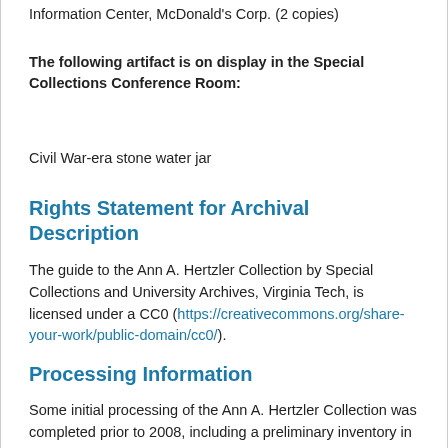Information Center, McDonald's Corp. (2 copies)
The following artifact is on display in the Special Collections Conference Room:
Civil War-era stone water jar
Rights Statement for Archival Description
The guide to the Ann A. Hertzler Collection by Special Collections and University Archives, Virginia Tech, is licensed under a CC0 (https://creativecommons.org/share-your-work/public-domain/cc0/).
Processing Information
Some initial processing of the Ann A. Hertzler Collection was completed prior to 2008, including a preliminary inventory in 2006. Additional processing, arrangement, and description were completed in September and October 2010. A 2011